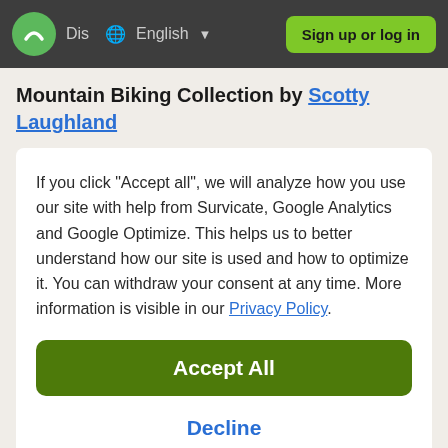Dis  English  Sign up or log in
Mountain Biking Collection by Scotty Laughland
If you click "Accept all", we will analyze how you use our site with help from Survicate, Google Analytics and Google Optimize. This helps us to better understand how our site is used and how to optimize it. You can withdraw your consent at any time. More information is visible in our Privacy Policy.
Accept All
Decline
Details
lifetime of enjoying these beautiful hills and